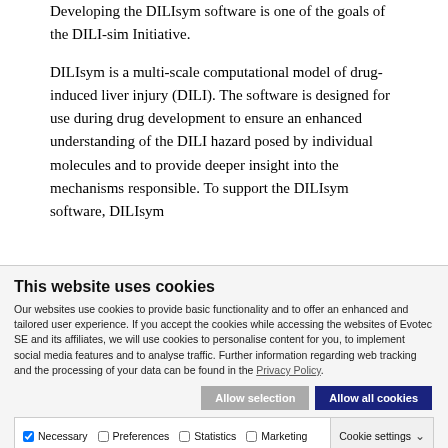Developing the DILIsym software is one of the goals of the DILI-sim Initiative.

DILIsym is a multi-scale computational model of drug-induced liver injury (DILI). The software is designed for use during drug development to ensure an enhanced understanding of the DILI hazard posed by individual molecules and to provide deeper insight into the mechanisms responsible. To support the DILIsym software, DILIsym
This website uses cookies
Our websites use cookies to provide basic functionality and to offer an enhanced and tailored user experience. If you accept the cookies while accessing the websites of Evotec SE and its affiliates, we will use cookies to personalise content for you, to implement social media features and to analyse traffic. Further information regarding web tracking and the processing of your data can be found in the Privacy Policy.